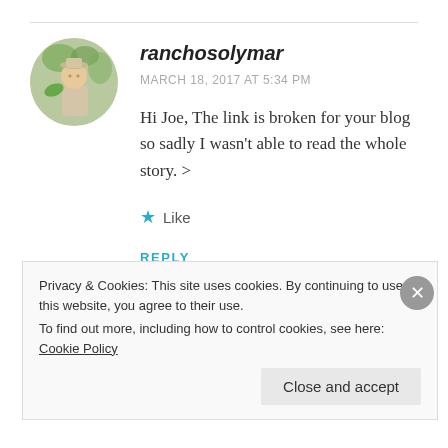ranchosolymar
MARCH 18, 2017 AT 5:34 PM
Hi Joe, The link is broken for your blog so sadly I wasn't able to read the whole story. >
Like
REPLY
Privacy & Cookies: This site uses cookies. By continuing to use this website, you agree to their use. To find out more, including how to control cookies, see here: Cookie Policy
Close and accept